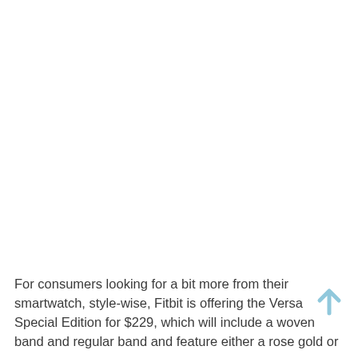For consumers looking for a bit more from their smartwatch, style-wise, Fitbit is offering the Versa Special Edition for $229, which will include a woven band and regular band and feature either a rose gold or